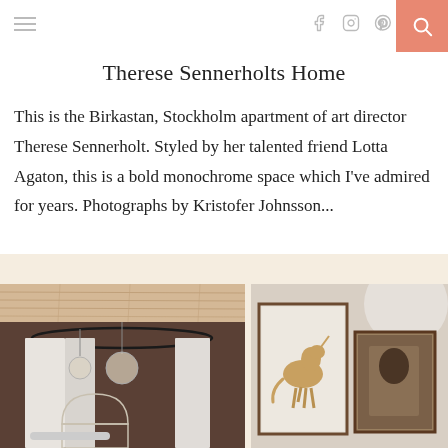Therese Sennerholts Home
This is the Birkastan, Stockholm apartment of art director Therese Sennerholt. Styled by her talented friend Lotta Agaton, this is a bold monochrome space which I've admired for years. Photographs by Kristofer Johnsson...
[Figure (photo): Left photo: interior bathroom with arch mirror, white curtain, globe pendant light, wooden ceiling]
[Figure (photo): Right photo: framed botanical/animal artwork prints on wall]